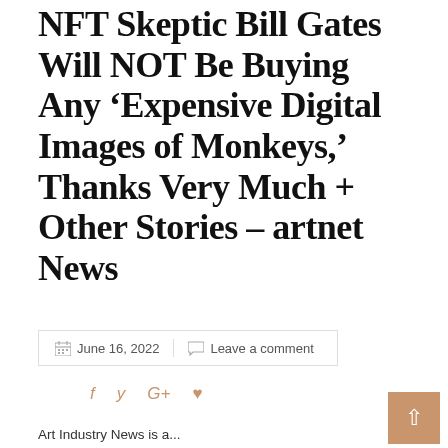Art Industry News: NFT Skeptic Bill Gates Will NOT Be Buying Any ‘Expensive Digital Images of Monkeys,’ Thanks Very Much + Other Stories – artnet News
June 16, 2022   Leave a comment
Art Industry News is a...